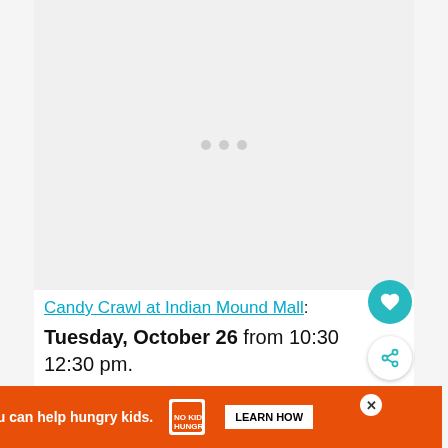[Figure (other): Loading image placeholder with three gray dots in the center on a light gray background]
Candy Crawl at Indian Mound Mall: Tuesday, October 26 from 10:30 … 12:30 pm.
Goblins and Ghouls are invited to Indian … in
[Figure (other): What's Next panel showing '2022 Trick or Treat in...' with a thumbnail image of fall foliage]
[Figure (other): Ad banner: You can help hungry kids. No Kid Hungry. LEARN HOW]